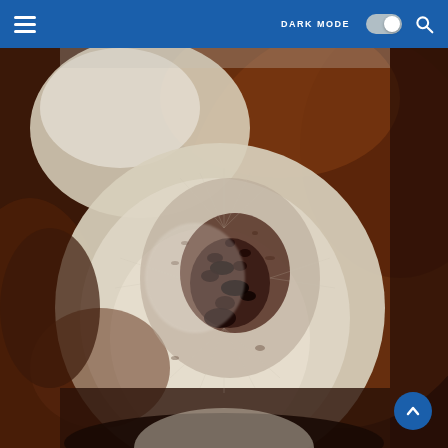DARK MODE [toggle] [search]
[Figure (photo): Close-up photograph of a dog's skin showing a lesion or wound on the nose/face area. The dog has brown and white fur. The affected area shows dark discoloration, possible scabbing or crusting consistent with a skin condition or injury, surrounded by lighter fur near the muzzle.]